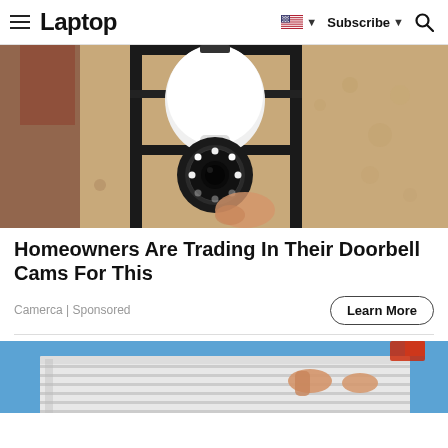Laptop | Subscribe
[Figure (photo): A security camera shaped like a light bulb installed in an outdoor wall lantern fixture on a textured beige stucco wall. The camera has a white spherical body with a circular lens and LED ring at the bottom. A hand is partially visible installing it.]
Homeowners Are Trading In Their Doorbell Cams For This
Camerca | Sponsored
[Figure (photo): Partial view of a person near a house exterior with white siding and a blue sky background, appears to be doing home maintenance work.]